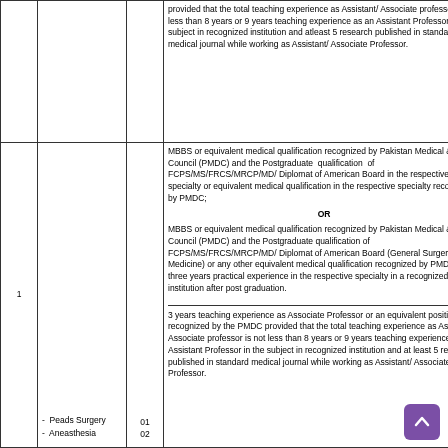| Sr# | Name of Post / Specialty | No. of Posts | Minimum Qualification & Experience |
| --- | --- | --- | --- |
| 1 | - Peads Surgery
- Aneasthesia | 01
02 | MBBS or equivalent medical qualification recognized by Pakistan Medical & Dental Council (PMDC) and the Postgraduate qualification of FCPS/MS/FRCS/MRCP/MD/Diplomat of American Board in the respective specialty or equivalent medical qualification in the respective specialty recognized by PMDC;
OR
MBBS or equivalent medical qualification recognized by Pakistan Medical & Dental Council (PMDC) and the Postgraduate qualification of FCPS/MS/FRCS/MRCP/MD/Diplomat of American Board (General Surgery/ Medicine) or any other equivalent medical qualification recognized by PMDC with three years practical experience in the respective specialty in a recognized institution after post graduation.
3 years teaching experience as Associate Professor or an equivalent position recognized by the PMDC provided that the total teaching experience as Assistant/ Associate professor is not less than 8 years or 9 years teaching experience as an Assistant Professor in the subject in recognized institution and at least 5 research published in standard medical journal while working as Assistant/ Associate Professor. |